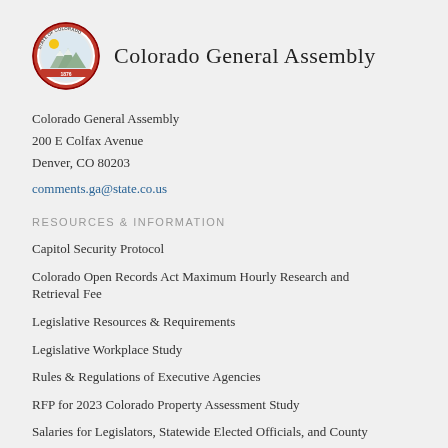Colorado General Assembly
Colorado General Assembly
200 E Colfax Avenue
Denver, CO 80203
comments.ga@state.co.us
RESOURCES & INFORMATION
Capitol Security Protocol
Colorado Open Records Act Maximum Hourly Research and Retrieval Fee
Legislative Resources & Requirements
Legislative Workplace Study
Rules & Regulations of Executive Agencies
RFP for 2023 Colorado Property Assessment Study
Salaries for Legislators, Statewide Elected Officials, and County